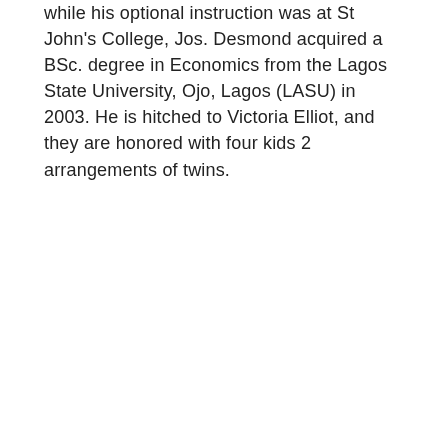while his optional instruction was at St John's College, Jos. Desmond acquired a BSc. degree in Economics from the Lagos State University, Ojo, Lagos (LASU) in 2003. He is hitched to Victoria Elliot, and they are honored with four kids 2 arrangements of twins.